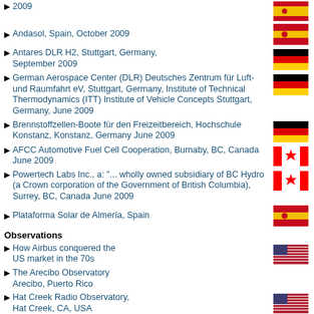2009
Andasol, Spain, October 2009
Antares DLR H2, Stuttgart, Germany, September 2009
German Aerospace Center (DLR) Deutsches Zentrum für Luft-und Raumfahrt eV, Stuttgart, Germany, Institute of Technical Thermodynamics (ITT) Institute of Vehicle Concepts Stuttgart, Germany, June 2009
Brennstoffzellen-Boote für den Freizeitbereich, Hochschule Konstanz, Konstanz, Germany June 2009
AFCC Automotive Fuel Cell Cooperation, Burnaby, BC, Canada June 2009
Powertech Labs Inc., a: "... wholly owned subsidiary of BC Hydro (a Crown corporation of the Government of British Columbia), Surrey, BC, Canada June 2009
Plataforma Solar de Almería, Spain
Observations
How Airbus conquered the US market in the 70s
The Arecibo Observatory Arecibo, Puerto Rico
Hat Creek Radio Observatory, Hat Creek, CA, USA
National Radio Astronomy Observatory, Green Bank, WV, USA
Wright Brothers National Memorial, Kitty